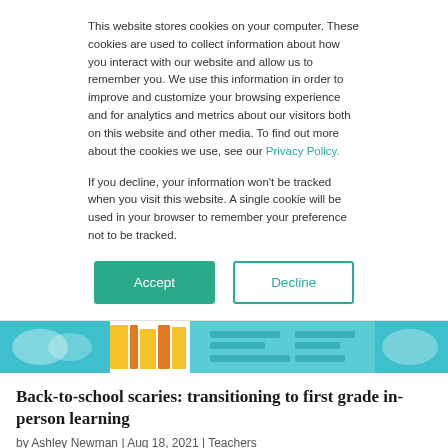This website stores cookies on your computer. These cookies are used to collect information about how you interact with our website and allow us to remember you. We use this information in order to improve and customize your browsing experience and for analytics and metrics about our visitors both on this website and other media. To find out more about the cookies we use, see our Privacy Policy.
If you decline, your information won't be tracked when you visit this website. A single cookie will be used in your browser to remember your preference not to be tracked.
[Figure (illustration): Colorful school-themed banner image with teal background, yellow books, and horizontal lines suggesting text/content]
Back-to-school scaries: transitioning to first grade in-person learning
by Ashley Newman | Aug 18, 2021 | Teachers
As a new school year approaches, so